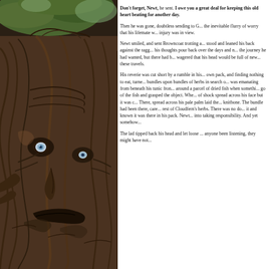[Figure (illustration): A detailed pencil/ink illustration of an ancient, gnarled tree with a face-like appearance — deep carved eyes and woody textures suggesting a living, sentient tree spirit. Green foliage visible at the top. The bark has flowing, sweeping lines forming a humanoid face with pale blue eyes.]
**Don't forget, Newt,** he sent. **I owe you a great deal for keeping this old heart beating for another day.**

Then he was gone, doubtless sending to G... the inevitable flurry of worry that his lifemate w... injury was in view.

Newt smiled, and sent Browncoat trotting a... stood and leaned his back against the ragg... his thoughts pour back over the days and n... the journey he had wanted, but there had b... wagered that his head would be full of new... these travels.

His reverie was cut short by a rumble in his... own pack, and finding nothing to eat, turne... bundles upon bundles of herbs in search o... was emanating from beneath his tunic fron... around a parcel of dried fish when somethi... go of the fish and grasped the object. Whe... of shock spread across his face but it was c... There, spread across his pale palm laid the... knitbone. The bundle had been there, care... rest of Cloudfern's herbs. There was no do... it and known it was there in his pack. Newt... into taking responsibility. And yet somehow...

The lad tipped back his head and let loose ... anyone been listening, they might have not...